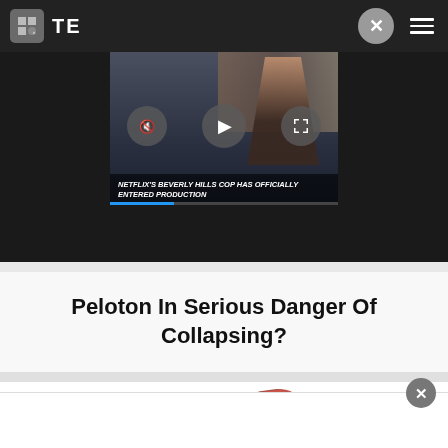[Figure (screenshot): Website navigation bar with dark background, logo box, 'TE' text, close button (X), and hamburger menu]
[Figure (screenshot): Video player showing Netflix Beverly Hills Cop production announcement with video controls (mute, play, fullscreen) overlaid on thumbnail of a person]
Peloton In Serious Danger Of Collapsing?
[Figure (photo): Red distressed rubber stamp text partially visible, appears to show a word starting with 'BORED' or similar]
[Figure (screenshot): Bottom advertisement bar with close button (X circle)]